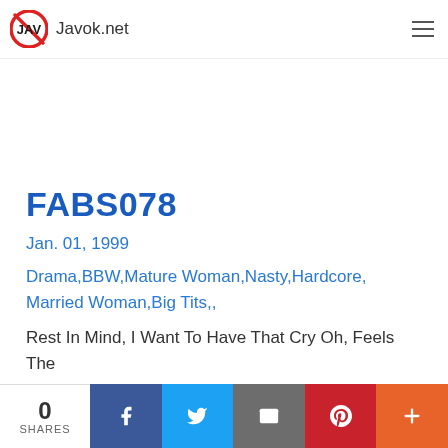JAV Javok.net
FABS078
Jan. 01, 1999
Drama,BBW,Mature Woman,Nasty,Hardcore, Married Woman,Big Tits,,
Rest In Mind, I Want To Have That Cry Oh, Feels The